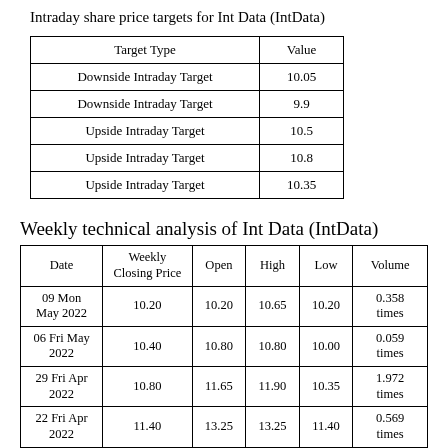Intraday share price targets for Int Data (IntData)
| Target Type | Value |
| --- | --- |
| Downside Intraday Target | 10.05 |
| Downside Intraday Target | 9.9 |
| Upside Intraday Target | 10.5 |
| Upside Intraday Target | 10.8 |
| Upside Intraday Target | 10.35 |
Weekly technical analysis of Int Data (IntData)
| Date | Weekly Closing Price | Open | High | Low | Volume |
| --- | --- | --- | --- | --- | --- |
| 09 Mon May 2022 | 10.20 | 10.20 | 10.65 | 10.20 | 0.358 times |
| 06 Fri May 2022 | 10.40 | 10.80 | 10.80 | 10.00 | 0.059 times |
| 29 Fri Apr 2022 | 10.80 | 11.65 | 11.90 | 10.35 | 1.972 times |
| 22 Fri Apr 2022 | 11.40 | 13.25 | 13.25 | 11.40 | 0.569 times |